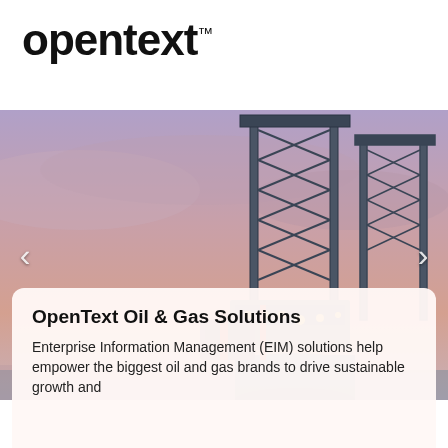[Figure (logo): OpenText logo with trademark symbol in bold black text]
[Figure (photo): Offshore oil drilling rig photographed at dusk with purple-pink sky, large industrial lattice structures and yellow lighting visible]
OpenText Oil & Gas Solutions
Enterprise Information Management (EIM) solutions help empower the biggest oil and gas brands to drive sustainable growth and